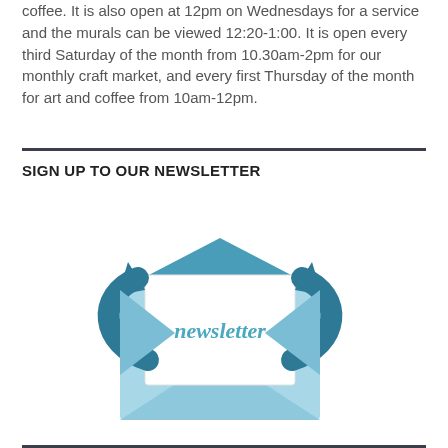coffee. It is also open at 12pm on Wednesdays for a service and the murals can be viewed 12:20-1:00. It is open every third Saturday of the month from 10.30am-2pm for our monthly craft market, and every first Thursday of the month for art and coffee from 10am-12pm.
SIGN UP TO OUR NEWSLETTER
[Figure (illustration): Newsletter subscription illustration: an open envelope with a white letter card inside showing the word 'newsletter' in teal cursive font, with two circular arrows wrapping around the envelope in dark teal, and a blue triangle flap at the top of the envelope.]